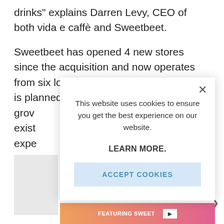drinks" explains Darren Levy, CEO of both vida e caffè and Sweetbeet.
Sweetbeet has opened 4 new stores since the acquisition and now operates from six locations across Cape Town. This is planned to grow to betv... grov... exist... expe...
[Figure (screenshot): Cookie consent modal dialog with close button (×), text 'This website uses cookies to ensure you get the best experience on our website.', a LEARN MORE. link, and an ACCEPT COOKIES button on a light blue background.]